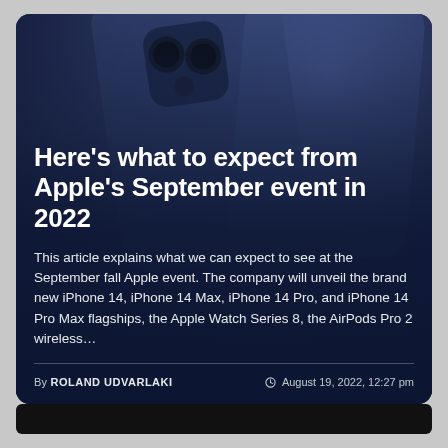[Figure (photo): iPhone 14 Pro devices shown from above and side angle against a dark blue background, used as article hero image]
Here's what to expect from Apple's September event in 2022
This article explains what we can expect to see at the September fall Apple event. The company will unveil the brand new iPhone 14, iPhone 14 Max, iPhone 14 Pro, and iPhone 14 Pro Max flagships, the Apple Watch Series 8, the AirPods Pro 2 wireless…
By ROLAND UDVARLAKI   © August 19, 2022, 12:27 pm